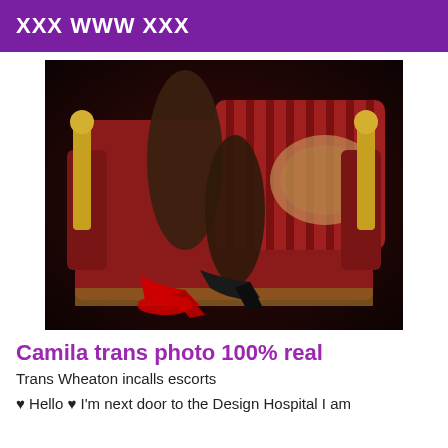XXX WWW XXX
[Figure (photo): A person on an ornate red velvet chair with gold arms, wearing red-soled black high heels.]
Camila trans photo 100% real
Trans Wheaton incalls escorts
♥ Hello ♥ I'm next door to the Design Hospital I am